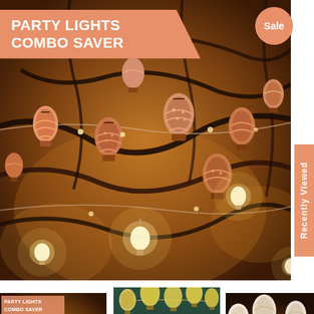PARTY LIGHTS COMBO SAVER
Sale
[Figure (photo): Overhead view of decorative party string lights with colorful hot air balloon shaped lanterns and glowing Edison bulbs hanging from dark branches against a warm brown/amber background]
Recently Viewed
[Figure (photo): Thumbnail of main party lights combo saver image with small text overlay showing title]
[Figure (photo): Thumbnail showing hot air balloon string lights arranged on a teal wall above a wooden frame and candles on a table]
[Figure (photo): Thumbnail showing hot air balloon shaped decorative string lights against a dark background]